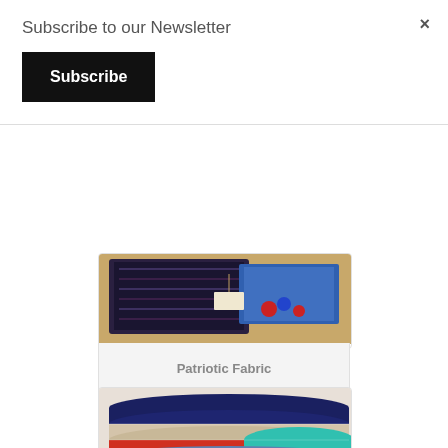×
Subscribe to our Newsletter
Subscribe
[Figure (photo): Patriotic fabric items in a box — dark patterned fabrics with ribbons and small accessories on a wooden surface]
Patriotic Fabric
[Figure (photo): Stacked colorful fabric rolls in various colors including navy blue, beige, red/orange, light blue, teal, purple, red, light blue, orange, lavender, and green]